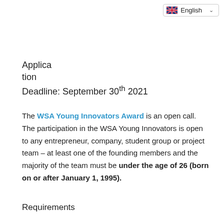English
Application Deadline: September 30th 2021
The WSA Young Innovators Award is an open call. The participation in the WSA Young Innovators is open to any entrepreneur, company, student group or project team – at least one of the founding members and the majority of the team must be under the age of 26 (born on or after January 1, 1995).
Requirements